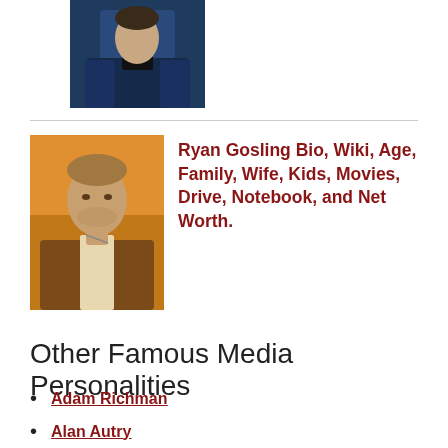[Figure (photo): Portrait photo of a man in a dark blue blazer and black shirt, cropped at the shoulders, against a neutral background.]
[Figure (photo): Portrait photo of Ryan Gosling in front of an orange background, wearing a brown jacket and necklace.]
Ryan Gosling Bio, Wiki, Age, Family, Wife, Kids, Movies, Drive, Notebook, and Net Worth.
Other Famous Media Personalities
Adam Richman
Alan Autry
Alex Curry
Alex Kraemer
Alex Scott